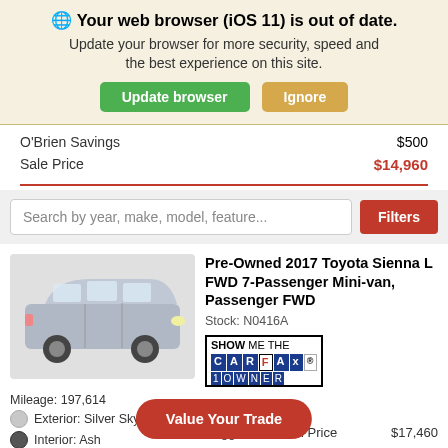🌐 Your web browser (iOS 11) is out of date. Update your browser for more security, speed and the best experience on this site.
Update browser | Ignore
|  |  |
| --- | --- |
| O'Brien Savings | $500 |
| Sale Price | $14,960 |
Search by year, make, model, feature...
Filters
Pre-Owned 2017 Toyota Sienna L FWD 7-Passenger Mini-van, Passenger FWD
Stock: N0416A
[Figure (logo): SHOW ME THE CARFAX 1 OWNER badge]
Value Your Trade
Mileage: 197,614
Exterior: Silver Sky Metallic
Interior: Ash
Suggested Retail Price
$17,460